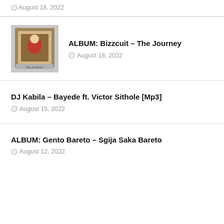August 18, 2022
ALBUM: Bizzcuit – The Journey
August 18, 2022
DJ Kabila – Bayede ft. Victor Sithole [Mp3]
August 15, 2022
ALBUM: Gento Bareto – Sgija Saka Bareto
August 12, 2022